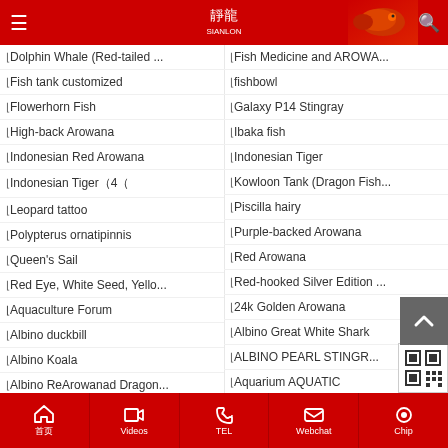Sianlon - Menu navigation header with logo, hamburger menu, and search icon
Dolphin Whale (Red-tailed ...
Fish Medicine and AROWA...
Fish tank customized
fishbowl
Flowerhorn Fish
Galaxy P14 Stingray
High-back Arowana
Ibaka fish
Indonesian Red Arowana
Indonesian Tiger
Indonesian Tiger（4（
Kowloon Tank (Dragon Fish...
Leopard tattoo
Piscilla hairy
Polypterus ornatipinnis
Purple-backed Arowana
Queen's Sail
Red Arowana
Red Eye, White Seed, Yello...
Red-hooked Silver Edition ...
Aquaculture Forum
24k Golden Arowana
Albino duckbill
Albino Great White Shark
Albino Koala
ALBINO PEARL STINGR...
Albino ReArowanad Dragon...
Aquarium AQUATIC
Home | Videos | TEL | Webchat | Chip